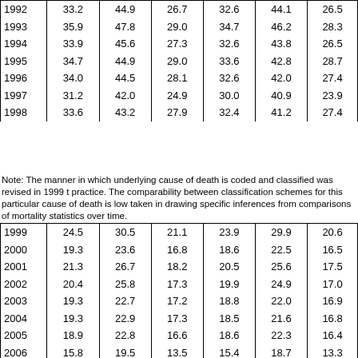| Year | Total | Male | Female | Total | Male | Female |
| --- | --- | --- | --- | --- | --- | --- |
| 1992 | 33.2 | 44.9 | 26.7 | 32.6 | 44.1 | 26.5 |
| 1993 | 35.9 | 47.8 | 29.0 | 34.7 | 46.2 | 28.3 |
| 1994 | 33.9 | 45.6 | 27.3 | 32.6 | 43.8 | 26.5 |
| 1995 | 34.7 | 44.9 | 29.0 | 33.6 | 42.8 | 28.7 |
| 1996 | 34.0 | 44.5 | 28.1 | 32.6 | 42.0 | 27.4 |
| 1997 | 31.2 | 42.0 | 24.9 | 30.0 | 40.9 | 23.9 |
| 1998 | 33.6 | 43.2 | 27.9 | 32.4 | 41.2 | 27.4 |
Note: The manner in which underlying cause of death is coded and classified was revised in 1999 t practice. The comparability between classification schemes for this particular cause of death is low taken in drawing specific inferences from comparisons of mortality statistics over time.
| Year | Total | Male | Female | Total | Male | Female |
| --- | --- | --- | --- | --- | --- | --- |
| 1999 | 24.5 | 30.5 | 21.1 | 23.9 | 29.9 | 20.6 |
| 2000 | 19.3 | 23.6 | 16.8 | 18.6 | 22.5 | 16.5 |
| 2001 | 21.3 | 26.7 | 18.2 | 20.5 | 25.6 | 17.5 |
| 2002 | 20.4 | 25.8 | 17.3 | 19.9 | 24.9 | 17.0 |
| 2003 | 19.3 | 22.7 | 17.2 | 18.8 | 22.0 | 16.9 |
| 2004 | 19.3 | 22.9 | 17.3 | 18.5 | 21.6 | 16.8 |
| 2005 | 18.9 | 22.8 | 16.6 | 18.6 | 22.3 | 16.4 |
| 2006 | 15.8 | 19.5 | 13.5 | 15.4 | 18.7 | 13.3 |
| 2007 | 15.1 | 18.6 | 13.0 | 14.3 | 17.6 | 12.4 |
| 2008 | 17.1 | 20.8 | 14.7 | 16.3 | 19.5 | 14.3 |
| 2009 | 13.8 | 17.1 | 11.8 | 13.5 | 16.8 | 11.5 |
| 2010 | 13.5 | 16.8 | 11.4 | 12.9 | 15.8 | 10.9 |
| 2011 | 15.0 | 18.3 | 12.8 | 14.5 | 17.6 | 12.7 |
| 2012 | 13.3 | 16.0 | 11.5 | 13.2 | 15.8 | 11.5 |